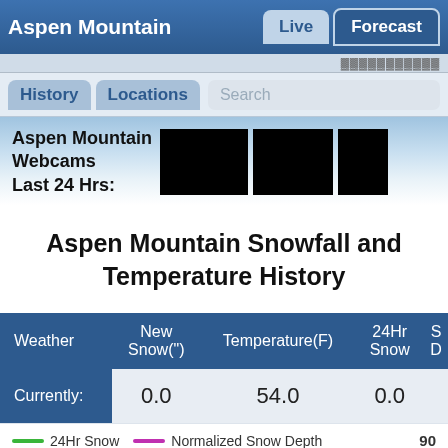Aspen Mountain  Live  Forecast
History  Locations  Search
Aspen Mountain Webcams Last 24 Hrs:
Aspen Mountain Snowfall and Temperature History
| Weather | New Snow(") | Temperature(F) | 24Hr Snow | S D |
| --- | --- | --- | --- | --- |
| Currently: | 0.0 | 54.0 | 0.0 |  |
24Hr Snow  Normalized Snow Depth  90